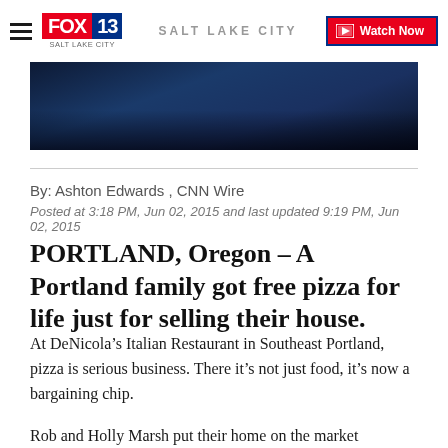FOX 13 SALT LAKE CITY | Watch Now
[Figure (photo): Dark blue-toned background image, partially visible at top of article]
By: Ashton Edwards , CNN Wire
Posted at 3:18 PM, Jun 02, 2015 and last updated 9:19 PM, Jun 02, 2015
PORTLAND, Oregon – A Portland family got free pizza for life just for selling their house.
At DeNicola's Italian Restaurant in Southeast Portland, pizza is serious business. There it's not just food, it's now a bargaining chip.
Rob and Holly Marsh put their home on the market